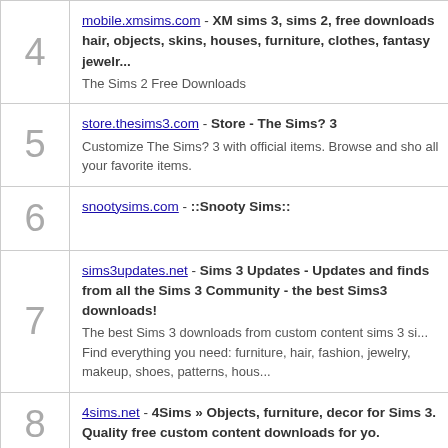4 - mobile.xmsims.com - XM sims 3, sims 2, free downloads hair, objects, skins, houses, furniture, clothes, fantasy jewelr... The Sims 2 Free Downloads
5 - store.thesims3.com - Store - The Sims? 3 Customize The Sims? 3 with official items. Browse and shop all your favorite items.
6 - snootysims.com - ::Snooty Sims::
7 - sims3updates.net - Sims 3 Updates - Updates and finds from all the Sims 3 Community - the best Sims3 downloads! The best Sims 3 downloads from custom content sims 3 si... Find everything you need: furniture, hair, fashion, jewelry, makeup, shoes, patterns, hous...
8 - 4sims.net - 4Sims &raquo; Objects, furniture, decor for Sims 3. Quality free custom content downloads for yo.
9 - spring4sims.com - Spring4Sims Spring4Sims - The Best Finds, Downloads and Hints for...